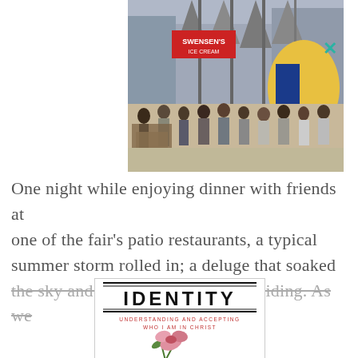[Figure (photo): Outdoor pedestrian area crowded with people, showing a Swensen's Ice Cream sign, covered walkway with metal structures, tables with diners on left, and an inflatable structure on the right. Urban fair or marketplace scene.]
One night while enjoying dinner with friends at one of the fair's patio restaurants, a typical summer storm rolled in; a deluge that soaked the sky and showed no sign of subsiding. As we
[Figure (photo): Book cover for 'IDENTITY: Understanding and Accepting Who I Am in Christ' with a pink flower]